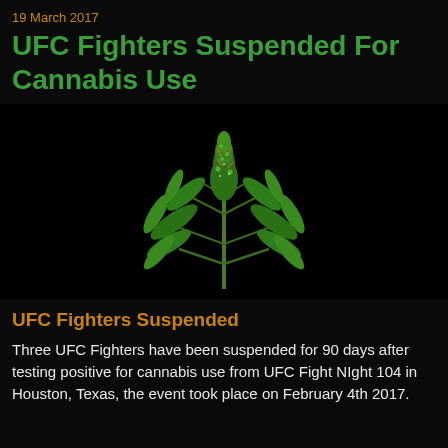19 March 2017
UFC Fighters Suspended For Cannabis Use
[Figure (photo): Cannabis plant with bright green buds and leaves against a black background]
UFC Fighters Suspended
Three UFC Fighters have been suspended for 90 days after testing positive for cannabis use from UFC Fight NIght 104 in Houston, Texas, the event took place on February 4th 2017.